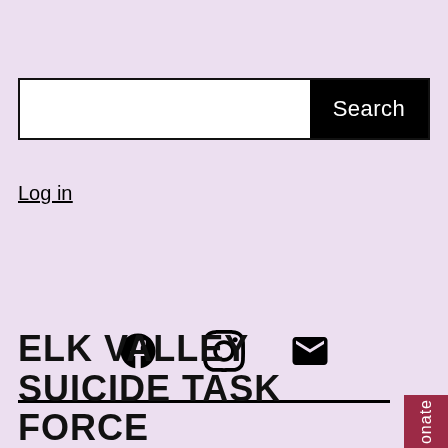[Figure (other): Search bar with white input field and black Search button]
Log in
[Figure (other): Social media icons: Facebook circle, Instagram, and Mail envelope]
ELK VALLEY SUICIDE TASK FORCE